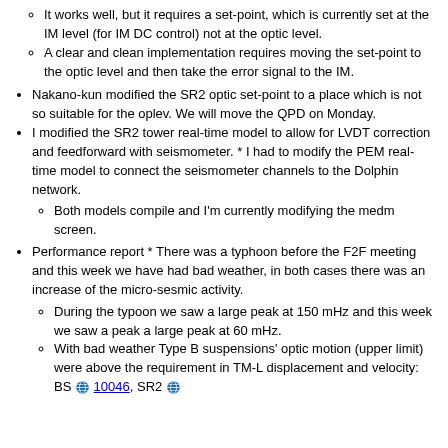It works well, but it requires a set-point, which is currently set at the IM level (for IM DC control) not at the optic level.
A clear and clean implementation requires moving the set-point to the optic level and then take the error signal to the IM.
Nakano-kun modified the SR2 optic set-point to a place which is not so suitable for the oplev. We will move the QPD on Monday.
I modified the SR2 tower real-time model to allow for LVDT correction and feedforward with seismometer. * I had to modify the PEM real-time model to connect the seismometer channels to the Dolphin network.
Both models compile and I'm currently modifying the medm screen.
Performance report * There was a typhoon before the F2F meeting and this week we have had bad weather, in both cases there was an increase of the micro-sesmic activity.
During the typoon we saw a large peak at 150 mHz and this week we saw a peak a large peak at 60 mHz.
With bad weather Type B suspensions' optic motion (upper limit) were above the requirement in TM-L displacement and velocity: BS 10046, SR2